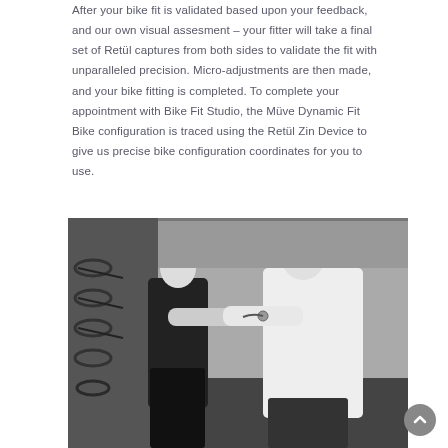After your bike fit is validated based upon your feedback, and our own visual assesment – your fitter will take a final set of Retül captures from both sides to validate the fit with unparalleled precision. Micro-adjustments are then made, and your bike fitting is completed. To complete your appointment with Bike Fit Studio, the Müve Dynamic Fit Bike configuration is traced using the Retül Zin Device to give us precise bike configuration coordinates for you to use.
[Figure (photo): Black and white photo of two people in a bike fitting studio. One person appears to be a fitter attaching sensors to the other person's arm. Handlebar parts/bike components visible in the background on the left.]